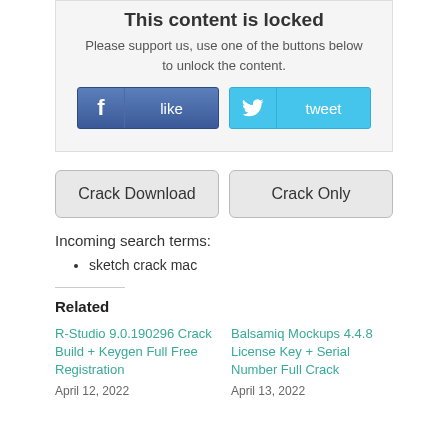This content is locked
Please support us, use one of the buttons below to unlock the content.
[Figure (other): Facebook Like and Twitter Tweet social share buttons]
[Figure (other): Crack Download and Crack Only buttons]
Incoming search terms:
sketch crack mac
Related
R-Studio 9.0.190296 Crack Build + Keygen Full Free Registration
April 12, 2022
Balsamiq Mockups 4.4.8 License Key + Serial Number Full Crack
April 13, 2022